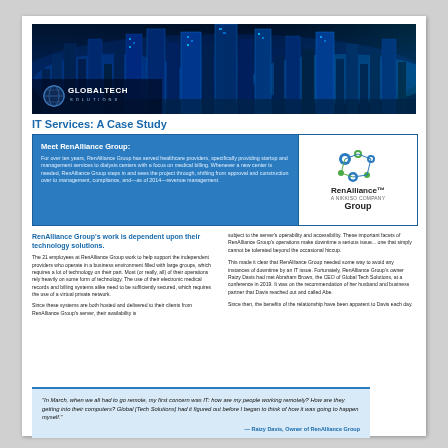[Figure (photo): Night cityscape banner with blue glowing skyscrapers and GlobalTech Solutions logo in bottom left]
IT Services: A Case Study
Meet RenAlliance Group: For over ten years, RenAlliance Group has served healthcare providers, specifically providing startup and management services to dialysis centers with a focus on medical billing. Whenever a new center is needed, RenAlliance Group steps in and sees the project through, shifting from approval and construction over to management, compliance, and—as of 2014—revenue management.
[Figure (logo): RenAlliance Group logo with decorative dots/circles icon]
RenAlliance Group's work is dependent upon their technology solutions.
The 21 employees at RenAlliance Group work to help support the independent providers who operate in a business environment filled with large groups, which requires a lot of technology on their part. Most (or really, all) of their operations rely heavily on some form of technology. The use of their electronic medical records and billing systems alike need to be sufficiently secured, which requires the use of a virtual private network.
Since these systems are both hosted and delivered to their clients from RenAlliance Group's server, their availability is subject to the server's operability and accessibility. These important facets of RenAlliance Group's operations make downtime a serious issue... one that simply cannot be tolerated beyond the occasional hiccup.
This made it clear that RenAlliance Group needed some way to avoid any instances of downtime by an IT issue. Fortunately, RenAlliance Group's owner Raizy Davis had met Abraham Brown, the CEO of Global Tech Solutions, at a conference in 2019. It was on the recommendation of her husband and business partner that Davis reached out and called Abe.
Since then, the benefits of the relationship have been apparent to Davis each day.
"In March, when we all had to go remote, my first concern was IT: how are my people working remotely? How are they getting into their computers? Global [Tech Solutions] had it figured out before I began to think of how it was going to happen myself."
— Raizy Davis, Owner of RenAlliance Group